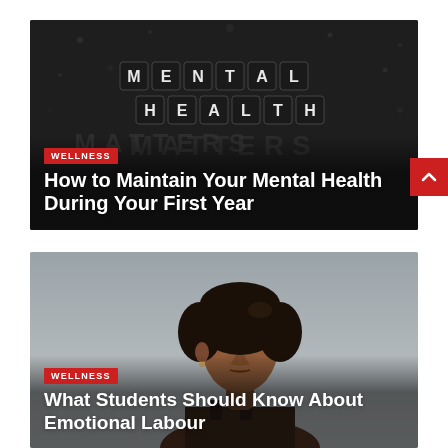[Figure (photo): Black and white photo of scrabble tiles spelling MENTAL HEALTH MATTERS on a textured concrete surface]
WELLNESS
How to Maintain Your Mental Health During Your First Year
[Figure (photo): Photo of a young Black woman with eyes closed, wearing athletic gear, against a grey background]
WELLNESS
What Students Should Know About Emotional Labour